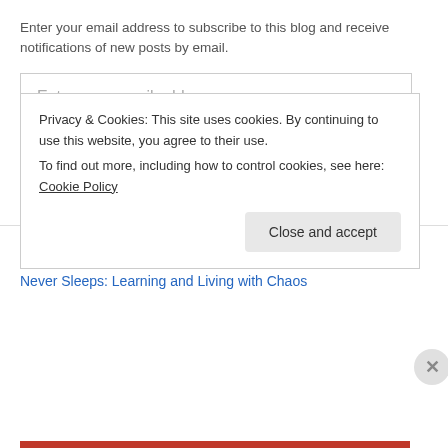Enter your email address to subscribe to this blog and receive notifications of new posts by email.
Enter your email address
Sign me up!
Join 236 other followers
Hot Stuff
Never Sleeps: Learning and Living with Chaos
Privacy & Cookies: This site uses cookies. By continuing to use this website, you agree to their use.
To find out more, including how to control cookies, see here: Cookie Policy
Close and accept